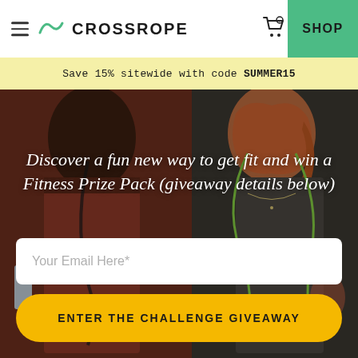[Figure (screenshot): Crossrope website navigation bar with hamburger menu, Crossrope logo, shopping cart icon with badge showing 0, and green SHOP button]
Save 15% sitewide with code SUMMER15
[Figure (photo): Two people holding jump ropes outdoors — a man in a red tank top on the left and a woman in a gray sports bra on the right with red hair]
Discover a fun new way to get fit and win a Fitness Prize Pack (giveaway details below)
Your Email Here*
ENTER THE CHALLENGE GIVEAWAY